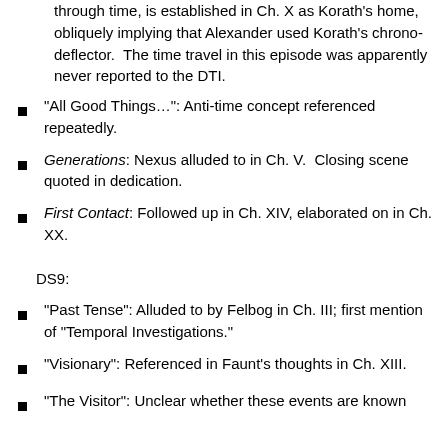through time, is established in Ch. X as Korath’s home, obliquely implying that Alexander used Korath’s chrono-deflector.  The time travel in this episode was apparently never reported to the DTI.
“All Good Things…”: Anti-time concept referenced repeatedly.
Generations: Nexus alluded to in Ch. V.  Closing scene quoted in dedication.
First Contact: Followed up in Ch. XIV, elaborated on in Ch. XX.
DS9:
“Past Tense”: Alluded to by Felbog in Ch. III; first mention of “Temporal Investigations.”
“Visionary”: Referenced in Faunt’s thoughts in Ch. XIII.
“The Visitor”: Unclear whether these events are known